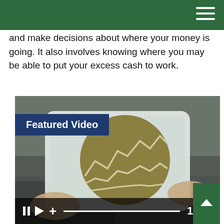and make decisions about where your money is going. It also involves knowing where you may be able to put your excess cash to work.
[Figure (screenshot): Video thumbnail showing a person holding a tablet displaying a circular chart with line graphs. A 'Featured Video' label appears in the top-left area. Video controls at the bottom show pause, play, plus, a progress bar at the start, and a timestamp of 1:59. A green tab with an up chevron is at the bottom right.]